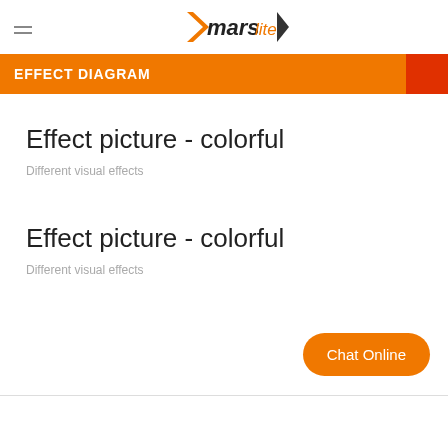marslite
EFFECT DIAGRAM
Effect picture - colorful
Different visual effects
Effect picture - colorful
Different visual effects
Chat Online